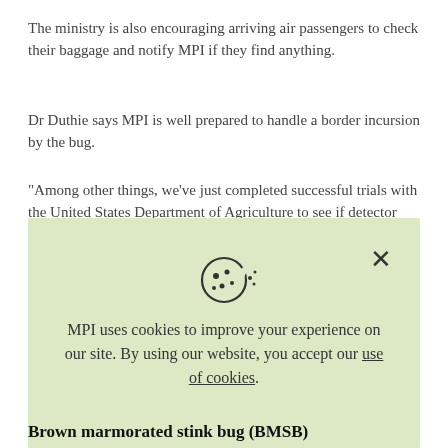The ministry is also encouraging arriving air passengers to check their baggage and notify MPI if they find anything.
Dr Duthie says MPI is well prepared to handle a border incursion by the bug.
"Among other things, we've just completed successful trials with the United States Department of Agriculture to see if detector dogs can be used to sniff out the bug in an outdoor
[Figure (screenshot): Cookie consent overlay with light green background, cookie icon, close X button, and text: MPI uses cookies to improve your experience on our site. By using our website, you accept our use of cookies.]
Brown marmorated stink bug (BMSB)